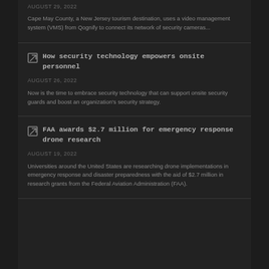AUGUST 29, 2022
Cape May County, a New Jersey tourism destination, uses a video management system (VMS) from Qognify to connect its network of security cameras...
How security technology empowers onsite personnel
AUGUST 26, 2022
Now is the time to embrace security technology that can support onsite security guards and boost an organization's security strategy.
FAA awards $2.7 million for emergency response drone research
AUGUST 19, 2022
Universities around the United States are researching drone implementations in emergency response and disaster preparedness with the aid of $2.7 million in research grants from the Federal Aviation Administration (FAA).